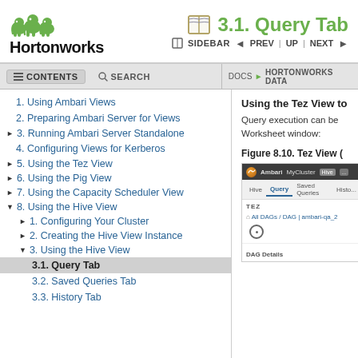[Figure (logo): Hortonworks logo with three green elephants and bold black text]
3.1. Query Tab
SIDEBAR   ◄ PREV | UP | NEXT ►
CONTENTS   SEARCH   DOCS ► HORTONWORKS DATA
1. Using Ambari Views
2. Preparing Ambari Server for Views
3. Running Ambari Server Standalone
4. Configuring Views for Kerberos
5. Using the Tez View
6. Using the Pig View
7. Using the Capacity Scheduler View
8. Using the Hive View
1. Configuring Your Cluster
2. Creating the Hive View Instance
3. Using the Hive View
3.1. Query Tab
3.2. Saved Queries Tab
3.3. History Tab
Using the Tez View to
Query execution can be Worksheet window:
Figure 8.10. Tez View (
[Figure (screenshot): Screenshot of Hortonworks Ambari Hive View showing Tez section with DAG breadcrumb navigation and DAG Details panel]